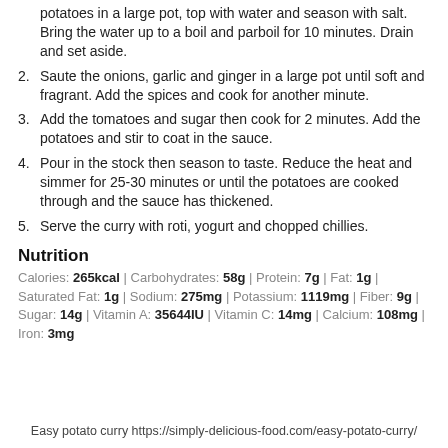potatoes in a large pot, top with water and season with salt. Bring the water up to a boil and parboil for 10 minutes. Drain and set aside.
2. Saute the onions, garlic and ginger in a large pot until soft and fragrant. Add the spices and cook for another minute.
3. Add the tomatoes and sugar then cook for 2 minutes. Add the potatoes and stir to coat in the sauce.
4. Pour in the stock then season to taste. Reduce the heat and simmer for 25-30 minutes or until the potatoes are cooked through and the sauce has thickened.
5. Serve the curry with roti, yogurt and chopped chillies.
Nutrition
Calories: 265kcal | Carbohydrates: 58g | Protein: 7g | Fat: 1g | Saturated Fat: 1g | Sodium: 275mg | Potassium: 1119mg | Fiber: 9g | Sugar: 14g | Vitamin A: 35644IU | Vitamin C: 14mg | Calcium: 108mg | Iron: 3mg
Easy potato curry https://simply-delicious-food.com/easy-potato-curry/